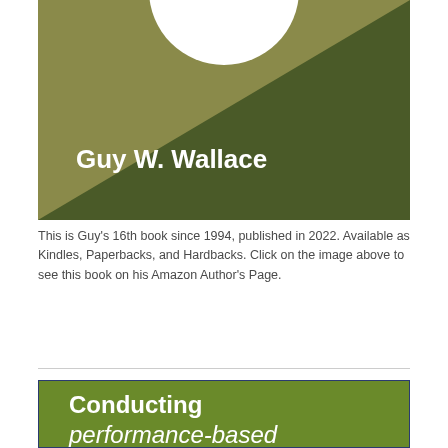[Figure (illustration): Book cover showing olive/khaki background with dark green triangle overlapping, white circle at top center, author name 'Guy W. Wallace' in white bold text]
This is Guy's 16th book since 1994, published in 2022. Available as Kindles, Paperbacks, and Hardbacks. Click on the image above to see this book on his Amazon Author's Page.
[Figure (illustration): Partial book cover with green background, showing title 'Conducting performance-based' in white bold and italic text]